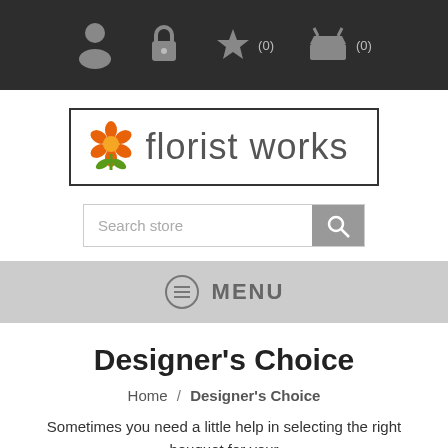[Figure (screenshot): Top navigation bar with dark background showing person icon, lock icon, star icon with (0) count, and shopping basket icon with (0) count]
[Figure (logo): Florist Works logo: orange flower icon with green stem and leaves beside the text 'florist works' inside a rectangular border]
[Figure (screenshot): Search bar with placeholder text 'Search store' and a grey search button with magnifying glass icon]
[Figure (screenshot): Grey menu bar with hamburger/list icon and the text MENU]
Designer's Choice
Home / Designer's Choice
Sometimes you need a little help in selecting the right bouquet for your